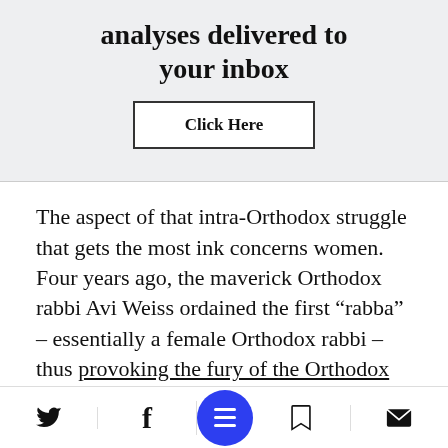analyses delivered to your inbox
Click Here
The aspect of that intra-Orthodox struggle that gets the most ink concerns women. Four years ago, the maverick Orthodox rabbi Avi Weiss ordained the first “rabba” – essentially a female Orthodox rabbi – thus provoking the fury of the Orthodox right. Kehilath Jeshurun, the synagogue with which Ramaz is linked, now employs a self-d—ibed female
Twitter | Facebook | Menu | Bookmark | Mail